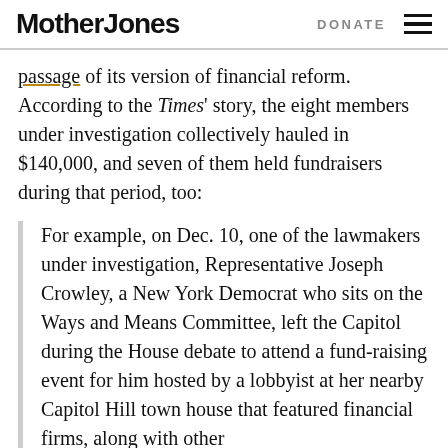Mother Jones | DONATE
passage of its version of financial reform. According to the Times' story, the eight members under investigation collectively hauled in $140,000, and seven of them held fundraisers during that period, too:
For example, on Dec. 10, one of the lawmakers under investigation, Representative Joseph Crowley, a New York Democrat who sits on the Ways and Means Committee, left the Capitol during the House debate to attend a fund-raising event for him hosted by a lobbyist at her nearby Capitol Hill town house that featured financial firms, along with other